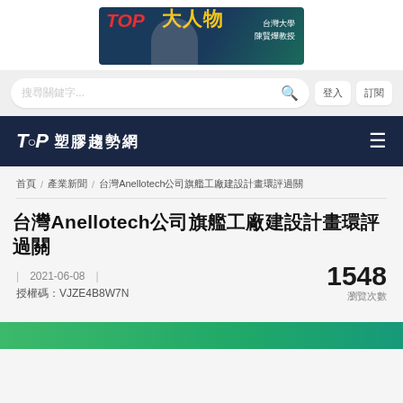[Figure (photo): TOP大人物 advertisement banner featuring a person and text '台灣大學 陳賢燁教授']
Search bar with placeholder text and search icon, plus two navigation buttons
TOP 塑膠趨勢網 navigation bar with hamburger menu
首頁 / 產業新聞 / 台灣Anellotech公司旗艦工廠建設計畫環評過關
台灣Anellotech公司旗艦工廠建設計畫環評過關
| 2021-06-08 | 授權碼：VJZE4B8W7N 1548 瀏覽次數